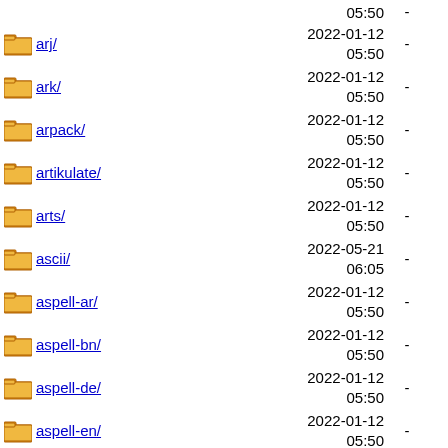arj/ 2022-01-12 05:50 -
ark/ 2022-01-12 05:50 -
arpack/ 2022-01-12 05:50 -
artikulate/ 2022-01-12 05:50 -
arts/ 2022-01-12 05:50 -
ascii/ 2022-05-21 06:05 -
aspell-ar/ 2022-01-12 05:50 -
aspell-bn/ 2022-01-12 05:50 -
aspell-de/ 2022-01-12 05:50 -
aspell-en/ 2022-01-12 05:50 -
aspell-es/ 2022-01-12 05:50 -